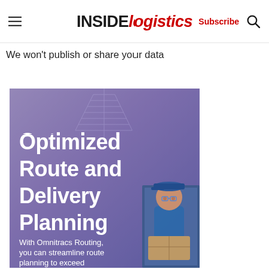INSIDE logistics — Subscribe
We won't publish or share your data
[Figure (illustration): Promotional image for 'Optimized Route and Delivery Planning' with Omnitracs Routing. Shows white bold text on a purple/lavender gradient background with a delivery person in a blue cap on the right side. Text reads: 'Optimized Route and Delivery Planning — With Omnitracs Routing, you can streamline route planning to exceed customer expectations.']